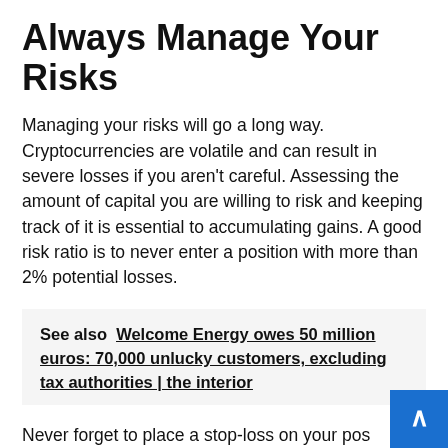Always Manage Your Risks
Managing your risks will go a long way. Cryptocurrencies are volatile and can result in severe losses if you aren't careful. Assessing the amount of capital you are willing to risk and keeping track of it is essential to accumulating gains. A good risk ratio is to never enter a position with more than 2% potential losses.
See also  Welcome Energy owes 50 million euros: 70,000 unlucky customers, excluding tax authorities | the interior
Never forget to place a stop-loss on your pos… no matter how certain you are of it. This shou…